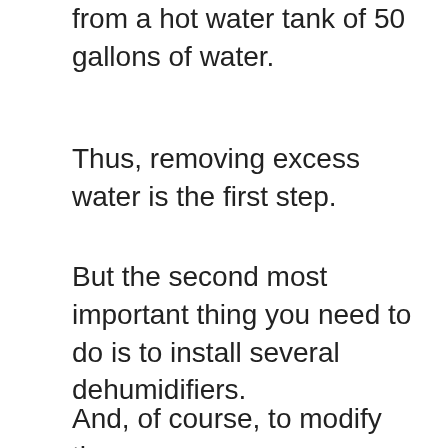from a hot water tank of 50 gallons of water.
Thus, removing excess water is the first step.
But the second most important thing you need to do is to install several dehumidifiers.
And, of course, to modify the